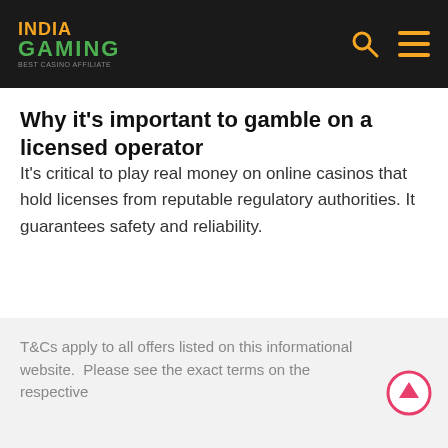INDIA GAMING
Why it's important to gamble on a licensed operator
It's critical to play real money on online casinos that hold licenses from reputable regulatory authorities. It guarantees safety and reliability.
T&Cs apply to all offers listed on this informational website.  Please see the exact terms on the respective website of Full terms apply. 18+ only. Gambling can be addictive.